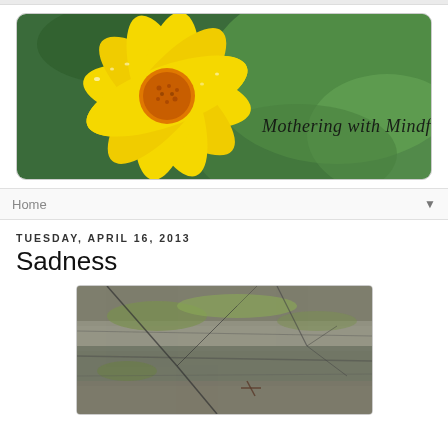[Figure (photo): Blog header image showing a yellow flower (calendula/daisy) with water droplets on green bokeh background, with cursive text 'Mothering with Mindfulness']
Home
Tuesday, April 16, 2013
Sadness
[Figure (photo): Photo of a mossy, weathered rock or log with bare tree branches, in muted natural tones of grey, green and brown]